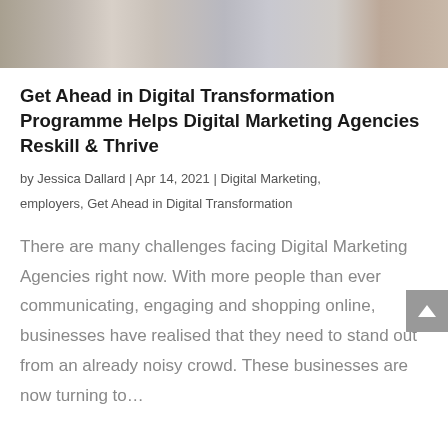[Figure (photo): Photograph of people working together with digital devices, cropped at top of page]
Get Ahead in Digital Transformation Programme Helps Digital Marketing Agencies Reskill & Thrive
by Jessica Dallard | Apr 14, 2021 | Digital Marketing, employers, Get Ahead in Digital Transformation
There are many challenges facing Digital Marketing Agencies right now. With more people than ever communicating, engaging and shopping online, businesses have realised that they need to stand out from an already noisy crowd. These businesses are now turning to…